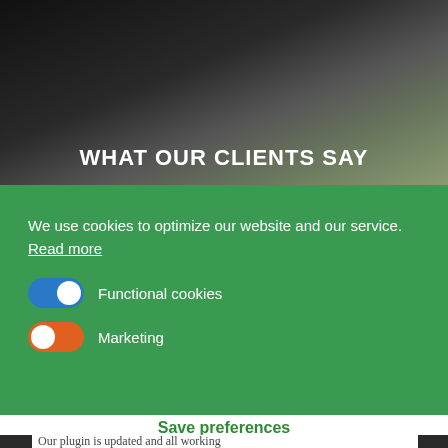[Figure (photo): Dark blurred hero image background with dark tones at left transitioning to muted green at right, with heading text overlaid at bottom]
WHAT OUR CLIENTS SAY
We use cookies to optimize our website and our service.  Read more
Functional cookies
Marketing
Save preferences
Our plugin is updated and all working